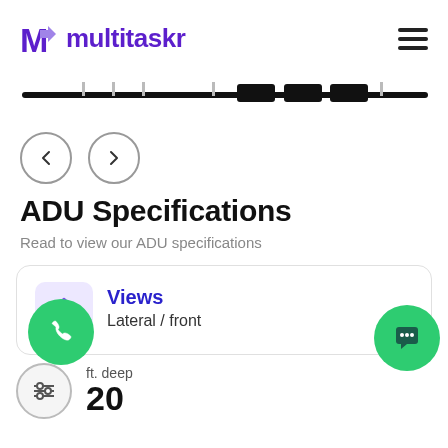[Figure (logo): Multitaskr logo with purple M arrow icon and purple bold text 'multitaskr', and a hamburger menu icon on the right]
[Figure (other): A horizontal scrollable image/slider progress bar showing a black track with multiple segment markers, some highlighted in black]
[Figure (other): Navigation arrows: left arrow circle button and right arrow circle button]
ADU Specifications
Read to view our ADU specifications
Views
Lateral / front
ft. deep
20